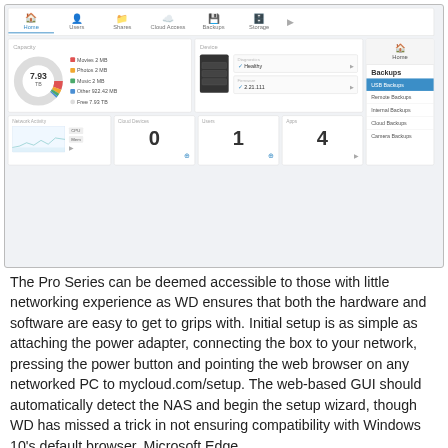[Figure (screenshot): WD My Cloud Pro Series web-based GUI showing Home dashboard with Capacity (7.93 TB), Device status (Healthy, Firmware 2.21.111), Network Activity, Cloud Devices (0), Users (1), Apps (4), and a right sidebar showing Backups menu with USB Backups, Remote Backups, Internal Backups, Cloud Backups, Camera Backups options.]
The Pro Series can be deemed accessible to those with little networking experience as WD ensures that both the hardware and software are easy to get to grips with. Initial setup is as simple as attaching the power adapter, connecting the box to your network, pressing the power button and pointing the web browser on any networked PC to mycloud.com/setup. The web-based GUI should automatically detect the NAS and begin the setup wizard, though WD has missed a trick in not ensuring compatibility with Windows 10's default browser, Microsoft Edge.